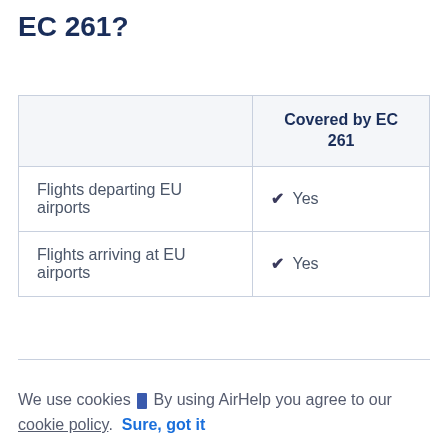EC 261?
|  | Covered by EC 261 |
| --- | --- |
| Flights departing EU airports | ✔ Yes |
| Flights arriving at EU airports | ✔ Yes |
We use cookies 🍪 By using AirHelp you agree to our cookie policy.  Sure, got it